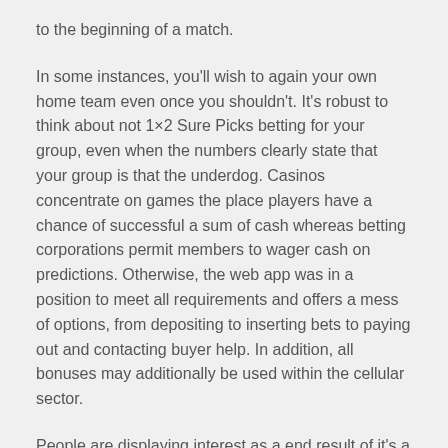to the beginning of a match.
In some instances, you'll wish to again your own home team even once you shouldn't. It's robust to think about not 1×2 Sure Picks betting for your group, even when the numbers clearly state that your group is that the underdog. Casinos concentrate on games the place players have a chance of successful a sum of cash whereas betting corporations permit members to wager cash on predictions. Otherwise, the web app was in a position to meet all requirements and offers a mess of options, from depositing to inserting bets to paying out and contacting buyer help. In addition, all bonuses may additionally be used within the cellular sector.
People are displaying interest as a end result of it's a different expertise that might be enjoyable. Right now, it's additionally a protected way for individuals to play on line casino video games with out leaving their properties. After all, we're still dealing with a pandemic and it just doesn't appear to be a sensible thought to go